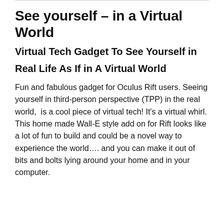See yourself – in a Virtual World
Virtual Tech Gadget To See Yourself in
Real Life As If in A Virtual World
Fun and fabulous gadget for Oculus Rift users. Seeing yourself in third-person perspective (TPP) in the real world,  is a cool piece of virtual tech! It's a virtual whirl. This home made Wall-E style add on for Rift looks like a lot of fun to build and could be a novel way to experience the world…. and you can make it out of bits and bolts lying around your home and in your computer.